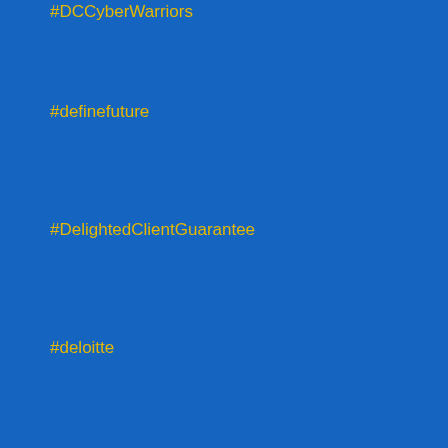#DCCyberWarriors
#definefuture
#DelightedClientGuarantee
#deloitte
#demoreel
#Desempeño
#design
#designthinking
#devConf
#DevConf